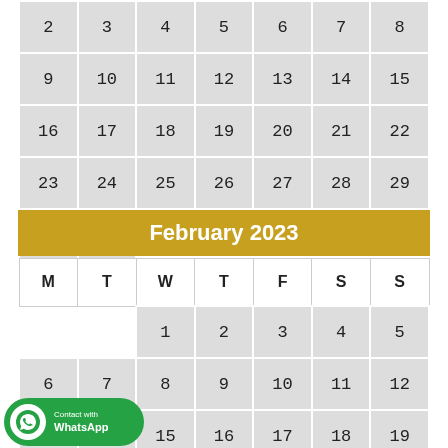| M | T | W | T | F | S | S |
| --- | --- | --- | --- | --- | --- | --- |
| 2 | 3 | 4 | 5 | 6 | 7 | 8 |
| 9 | 10 | 11 | 12 | 13 | 14 | 15 |
| 16 | 17 | 18 | 19 | 20 | 21 | 22 |
| 23 | 24 | 25 | 26 | 27 | 28 | 29 |
| 30 | 31 |  |  |  |  |  |
February 2023
| M | T | W | T | F | S | S |
| --- | --- | --- | --- | --- | --- | --- |
|  |  | 1 | 2 | 3 | 4 | 5 |
| 6 | 7 | 8 | 9 | 10 | 11 | 12 |
| 13 | 14 | 15 | 16 | 17 | 18 | 19 |
| 20 | 21 | 22 | 23 | 24 | 25 | 26 |